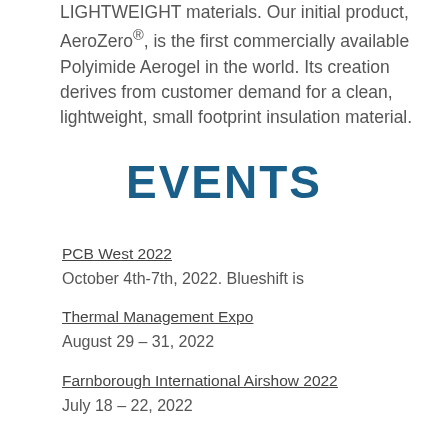LIGHTWEIGHT materials. Our initial product, AeroZero®, is the first commercially available Polyimide Aerogel in the world. Its creation derives from customer demand for a clean, lightweight, small footprint insulation material.
EVENTS
PCB West 2022
October 4th-7th, 2022. Blueshift is
Thermal Management Expo
August 29 – 31, 2022
Farnborough International Airshow 2022
July 18 – 22, 2022